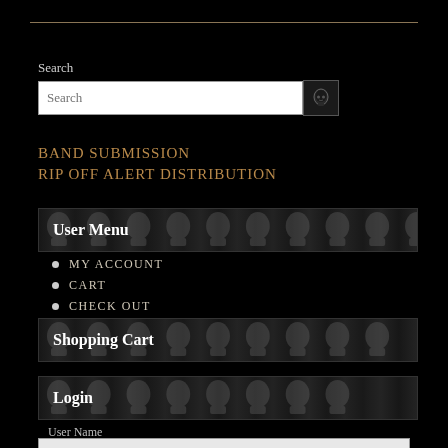Search
Search (input field with skull button)
BAND SUBMISSION
RIP OFF ALERT DISTRIBUTION
User Menu
MY ACCOUNT
CART
CHECK OUT
Shopping Cart
Login
User Name